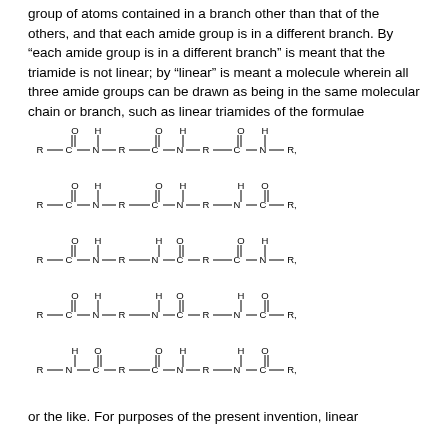group of atoms contained in a branch other than that of the others, and that each amide group is in a different branch. By “each amide group is in a different branch” is meant that the triamide is not linear; by “linear” is meant a molecule wherein all three amide groups can be drawn as being in the same molecular chain or branch, such as linear triamides of the formulae
[Figure (math-figure): Five chemical structural formulae showing linear triamide molecules with R, C, N, O, H groups connected in chain arrangements with single and double bonds]
or the like. For purposes of the present invention, linear